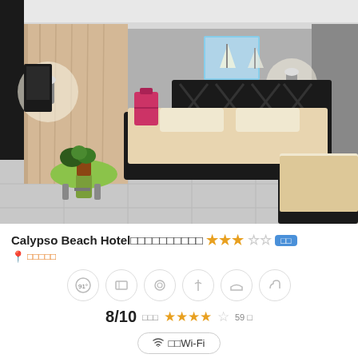[Figure (photo): Hotel room interior with two beds with beige/cream covers, black headboard, green round side table with plant, beige curtains, wall sconces, a painting on wall, and pink luggage.]
Calypso Beach Hotel ★★★☆☆  8/10 ★★★★☆ 59 Wi-Fi
Calypso Beach Hotel San Andres Island Spratt Bay
8/10 ★★★★☆ 59 Free Wi-Fi